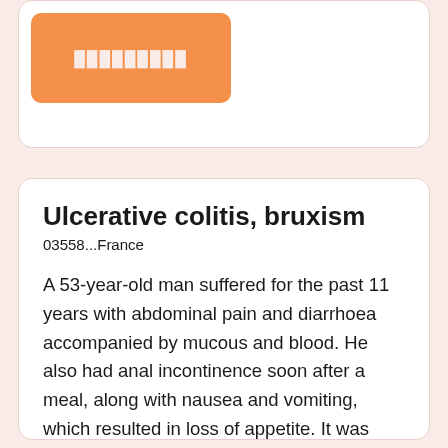[Figure (other): Orange box with pixelated/redacted text on a white card background]
Ulcerative colitis, bruxism
03558...France
A 53-year-old man suffered for the past 11 years with abdominal pain and diarrhoea accompanied by mucous and blood. He also had anal incontinence soon after a meal, along with nausea and vomiting, which resulted in loss of appetite. It was diagnosed as ulcerative colitis in 2006. Pentasa suppositories, which he used for 2 years, gave him no relief. During the... (continued)